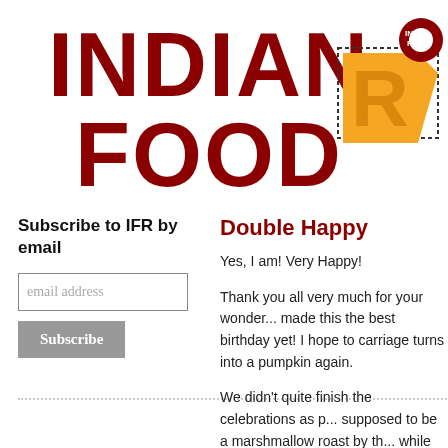Indian Food
[Figure (logo): Decorative badge/logo with letters R and O in yellow/orange with dotted border and red circular element]
Subscribe to IFR by email
email address
Subscribe
Double Happy
Yes, I am! Very Happy!
Thank you all very much for your wonder... made this the best birthday yet! I hope to carriage turns into a pumpkin again.
We didn't quite finish the celebrations as p... supposed to be a marshmallow roast by th... while pretending they were out camping. dessert - vanilla ice-cream with chocolate did.